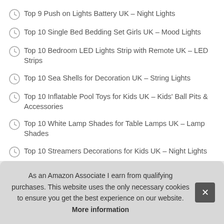Top 9 Push on Lights Battery UK – Night Lights
Top 10 Single Bed Bedding Set Girls UK – Mood Lights
Top 10 Bedroom LED Lights Strip with Remote UK – LED Strips
Top 10 Sea Shells for Decoration UK – String Lights
Top 10 Inflatable Pool Toys for Kids UK – Kids' Ball Pits & Accessories
Top 10 White Lamp Shades for Table Lamps UK – Lamp Shades
Top 10 Streamers Decorations for Kids UK – Night Lights
Top 10 USB Charger Plug Uk One Port UK – Children's Lighting
As an Amazon Associate I earn from qualifying purchases. This website uses the only necessary cookies to ensure you get the best experience on our website. More information